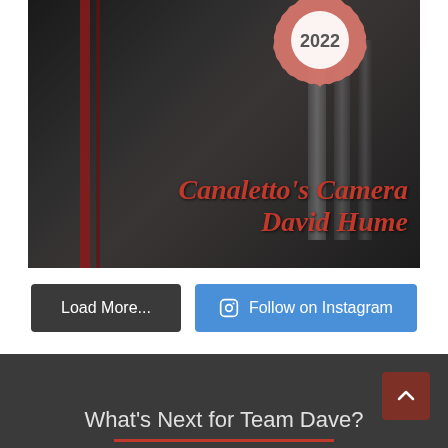[Figure (photo): Book cover for 'Canaletto's Camera' by David Hume, showing a dark architectural photograph with red pillars and stone columns, overlaid with a salmon/pink badge showing '2022' and the title text in red italic font. Below the cover are two buttons: 'Load More...' (dark) and 'Follow on Instagram' (blue).]
What's Next for Team Dave?